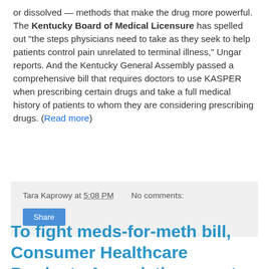or dissolved — methods that make the drug more powerful. The Kentucky Board of Medical Licensure has spelled out "the steps physicians need to take as they seek to help patients control pain unrelated to terminal illness," Ungar reports. And the Kentucky General Assembly passed a comprehensive bill that requires doctors to use KASPER when prescribing certain drugs and take a full medical history of patients to whom they are considering prescribing drugs. (Read more)
Tara Kaprowy at 5:08 PM   No comments:
Share
To fight meds-for-meth bill, Consumer Healthcare Products Association spent almost $500,000 in last session, a record